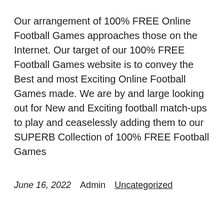Our arrangement of 100% FREE Online Football Games approaches those on the Internet. Our target of our 100% FREE Football Games website is to convey the Best and most Exciting Online Football Games made. We are by and large looking out for New and Exciting football match-ups to play and ceaselessly adding them to our SUPERB Collection of 100% FREE Football Games
June 16, 2022    Admin    Uncategorized